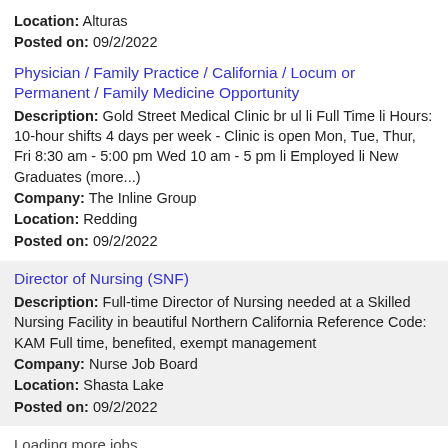Location: Alturas
Posted on: 09/2/2022
Physician / Family Practice / California / Locum or Permanent / Family Medicine Opportunity
Description: Gold Street Medical Clinic br ul li Full Time li Hours: 10-hour shifts 4 days per week - Clinic is open Mon, Tue, Thur, Fri 8:30 am - 5:00 pm Wed 10 am - 5 pm li Employed li New Graduates (more...)
Company: The Inline Group
Location: Redding
Posted on: 09/2/2022
Director of Nursing (SNF)
Description: Full-time Director of Nursing needed at a Skilled Nursing Facility in beautiful Northern California Reference Code: KAM Full time, benefited, exempt management
Company: Nurse Job Board
Location: Shasta Lake
Posted on: 09/2/2022
Loading more jobs...